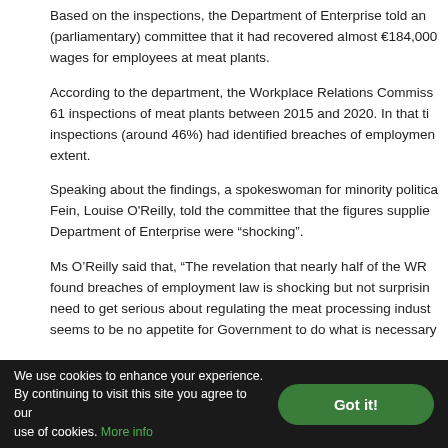Based on the inspections, the Department of Enterprise told an (parliamentary) committee that it had recovered almost €184,000 wages for employees at meat plants.
According to the department, the Workplace Relations Commission 61 inspections of meat plants between 2015 and 2020. In that time inspections (around 46%) had identified breaches of employment extent.
Speaking about the findings, a spokeswoman for minority political Fein, Louise O'Reilly, told the committee that the figures supplied Department of Enterprise were "shocking".
Ms O'Reilly said that, "The revelation that nearly half of the WRC found breaches of employment law is shocking but not surprising. need to get serious about regulating the meat processing industry seems to be no appetite for Government to do what is necessary.
"I shudder to think what these workers are enduring when the inspection and the spotlight shines elsewhere."
We use cookies to enhance your experience. By continuing to visit this site you agree to our use of cookies. More info